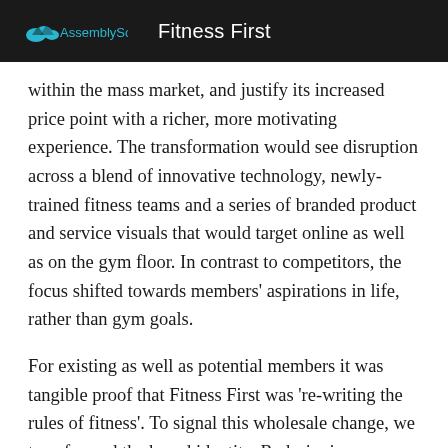AssemblySoft   Fitness First
within the mass market, and justify its increased price point with a richer, more motivating experience. The transformation would see disruption across a blend of innovative technology, newly-trained fitness teams and a series of branded product and service visuals that would target online as well as on the gym floor. In contrast to competitors, the focus shifted towards members’ aspirations in life, rather than gym goals.
For existing as well as potential members it was tangible proof that Fitness First was ‘re-writing the rules of fitness’. To signal this wholesale change, we transformed the brand identity. Redesigning every element, we benchmarked our work against apparel